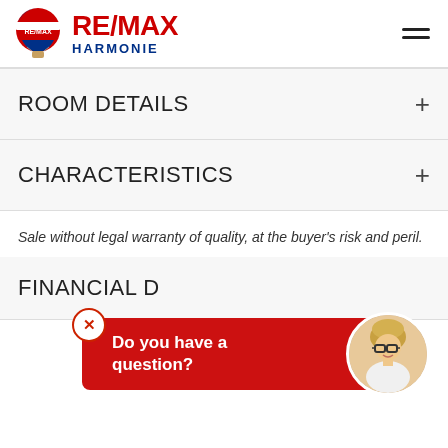[Figure (logo): RE/MAX Harmonie logo with hot air balloon icon and red/blue RE/MAX text]
ROOM DETAILS
CHARACTERISTICS
Sale without legal warranty of quality, at the buyer's risk and peril.
FINANCIAL D
[Figure (other): Chat popup overlay with red background saying 'Do you have a question?' with X close button and agent photo]